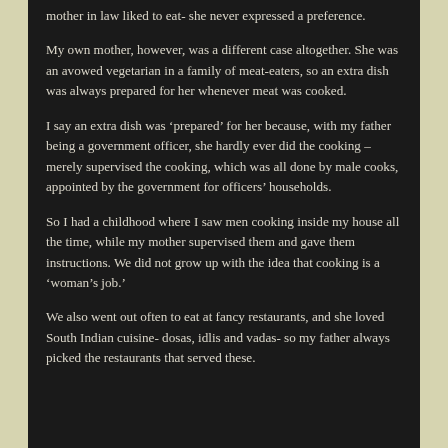mother in law liked to eat- she never expressed a preference.
My own mother, however, was a different case altogether. She was an avowed vegetarian in a family of meat-eaters, so an extra dish was always prepared for her whenever meat was cooked.
I say an extra dish was ‘prepared’ for her because, with my father being a government officer, she hardly ever did the cooking – merely supervised the cooking, which was all done by male cooks, appointed by the government for officers’ households.
So I had a childhood where I saw men cooking inside my house all the time, while my mother supervised them and gave them instructions. We did not grow up with the idea that cooking is a ‘woman’s job.’
We also went out often to eat at fancy restaurants, and she loved South Indian cuisine- dosas, idlis and vadas- so my father always picked the restaurants that served these.